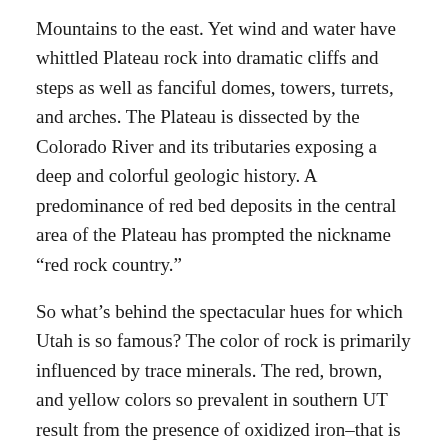Mountains to the east. Yet wind and water have whittled Plateau rock into dramatic cliffs and steps as well as fanciful domes, towers, turrets, and arches. The Plateau is dissected by the Colorado River and its tributaries exposing a deep and colorful geologic history. A predominance of red bed deposits in the central area of the Plateau has prompted the nickname “red rock country.”
So what’s behind the spectacular hues for which Utah is so famous? The color of rock is primarily influenced by trace minerals. The red, brown, and yellow colors so prevalent in southern UT result from the presence of oxidized iron–that is iron that has undergone a chemical reaction upon exposure to air or oxygenated water. The iron oxides released from this process form a coating on the surface of the rock or rock grains containing the iron.
Just think of what happens to a nail when you leave it outside. Upon prolonged exposure, the iron in the nail